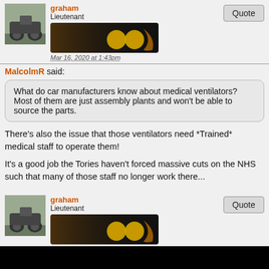graham
Lieutenant
Mar 16, 2020 at 1:43pm
MalcolmR said:
What do car manufacturers know about medical ventilators? Most of them are just assembly plants and won't be able to source the parts.
There's also the issue that those ventilators need *Trained* medical staff to operate them!
It's a good job the Tories haven't forced massive cuts on the NHS such that many of those staff no longer work there...
graham
Lieutenant
Mar 16, 2020 at 1:51pm